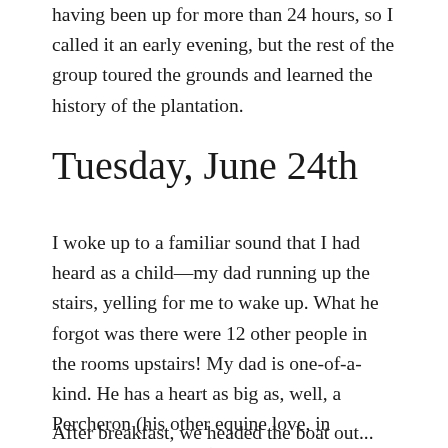having been up for more than 24 hours, so I called it an early evening, but the rest of the group toured the grounds and learned the history of the plantation.
Tuesday, June 24th
I woke up to a familiar sound that I had heard as a child—my dad running up the stairs, yelling for me to wake up. What he forgot was there were 12 other people in the rooms upstairs! My dad is one-of-a-kind. He has a heart as big as, well, a Percheron (his other equine love, in addition to Arabians) and a personality to match.
After breakfast, we headed the boat out...